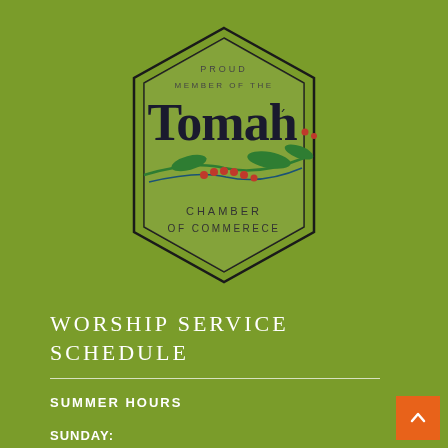[Figure (logo): Tomah Chamber of Commerce badge logo with hexagon shape. Text reads 'PROUD MEMBER OF THE Tomah CHAMBER OF COMMERECE' with decorative botanical branch with red berries.]
WORSHIP SERVICE SCHEDULE
SUMMER HOURS
SUNDAY: